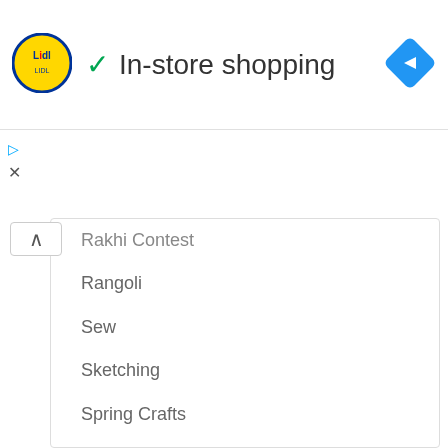[Figure (logo): Lidl logo - yellow circle with blue border and red/blue Lidl text]
In-store shopping
[Figure (other): Blue diamond navigation/directions icon]
[Figure (other): Small play button and X ad icons on left side]
Rakhi Contest
Rangoli
Sew
Sketching
Spring Crafts
Step by step
String Art
Thermocol Crafts
Tips & Tricks
Tutorial
Video
Wedding